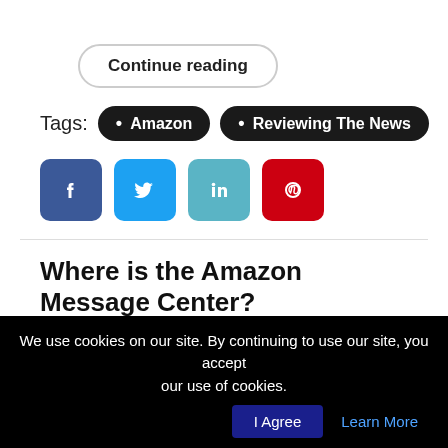Continue reading
Tags: Amazon • Reviewing The News
[Figure (screenshot): Social share icons: Facebook (blue), Twitter (light blue), LinkedIn (teal), Pinterest (red)]
Where is the Amazon Message Center?
[Figure (screenshot): Screenshot of Amazon interface showing 'Your Account > Message Center' navigation path with a red arrow pointing to it and a red question mark. Below shows 'All Messages' dropdown and tabs for Inbox, All Messages, Buyer/Seller Messages.]
We use cookies on our site. By continuing to use our site, you accept our use of cookies.